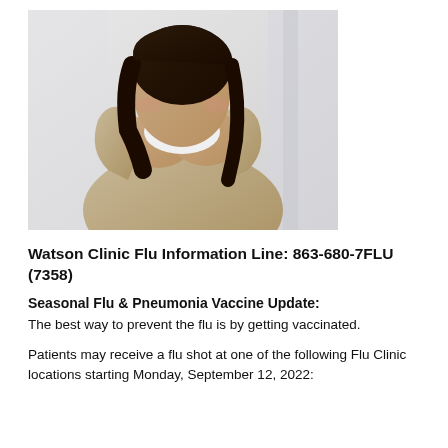[Figure (photo): Woman in a beige knit sweater blowing her nose into a tissue, light background]
Watson Clinic Flu Information Line: 863-680-7FLU (7358)
Seasonal Flu & Pneumonia Vaccine Update:
The best way to prevent the flu is by getting vaccinated.
Patients may receive a flu shot at one of the following Flu Clinic locations starting Monday, September 12, 2022: